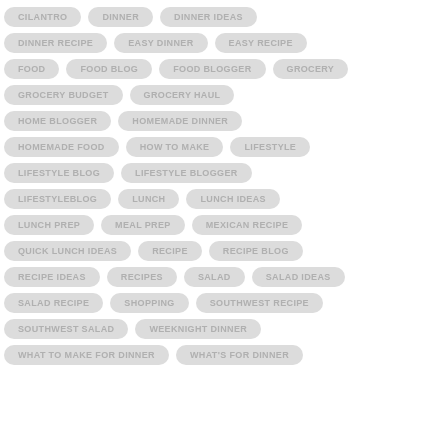CILANTRO
DINNER
DINNER IDEAS
DINNER RECIPE
EASY DINNER
EASY RECIPE
FOOD
FOOD BLOG
FOOD BLOGGER
GROCERY
GROCERY BUDGET
GROCERY HAUL
HOME BLOGGER
HOMEMADE DINNER
HOMEMADE FOOD
HOW TO MAKE
LIFESTYLE
LIFESTYLE BLOG
LIFESTYLE BLOGGER
LIFESTYLEBLOG
LUNCH
LUNCH IDEAS
LUNCH PREP
MEAL PREP
MEXICAN RECIPE
QUICK LUNCH IDEAS
RECIPE
RECIPE BLOG
RECIPE IDEAS
RECIPES
SALAD
SALAD IDEAS
SALAD RECIPE
SHOPPING
SOUTHWEST RECIPE
SOUTHWEST SALAD
WEEKNIGHT DINNER
WHAT TO MAKE FOR DINNER
WHAT'S FOR DINNER